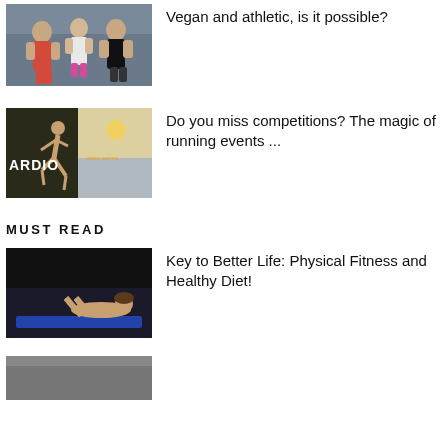[Figure (photo): Three athletic people posing in a gym]
Vegan and athletic, is it possible?
[Figure (photo): Runner in motion with 'ARDIO' text overlay and orange accent]
Do you miss competitions? The magic of running events ...
MUST READ
[Figure (photo): Woman doing sit-ups on a dark background]
Key to Better Life: Physical Fitness and Healthy Diet!
[Figure (photo): Partial thumbnail of a fourth article]